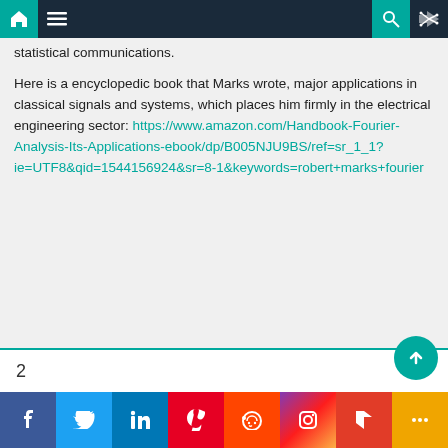Navigation bar with home, menu, search, and shuffle icons
statistical communications.
Here is a encyclopedic book that Marks wrote, major applications in classical signals and systems, which places him firmly in the electrical engineering sector: https://www.amazon.com/Handbook-Fourier-Analysis-Its-Applications-ebook/dp/B005NJU9BS/ref=sr_1_1?ie=UTF8&qid=1544156924&sr=8-1&keywords=robert+marks+fourier
2
Social share buttons: Facebook, Twitter, LinkedIn, Pinterest, Reddit, Instagram, Flipboard, More